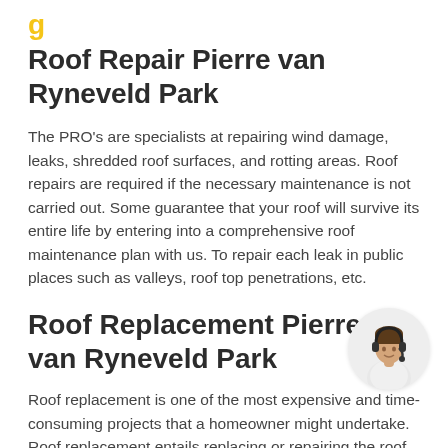Roof Repair Pierre van Ryneveld Park
The PRO's are specialists at repairing wind damage, leaks, shredded roof surfaces, and rotting areas. Roof repairs are required if the necessary maintenance is not carried out. Some guarantee that your roof will survive its entire life by entering into a comprehensive roof maintenance plan with us. To repair each leak in public places such as valleys, roof top penetrations, etc.
[Figure (photo): Circular photo of a person wearing a headset, customer service representative]
Roof Replacement Pierre van Ryneveld Park
Roof replacement is one of the most expensive and time-consuming projects that a homeowner might undertake. Roof replacement entails replacing or repairing the roof as a